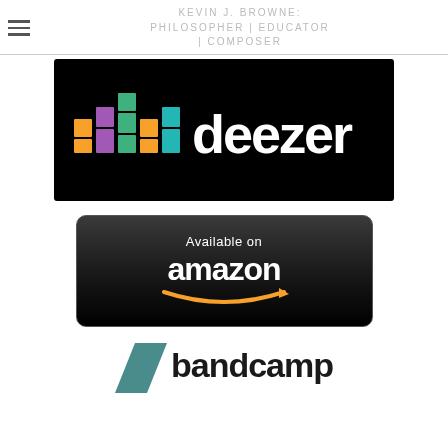Kevin J. Browne: Philosopher | Educator | Composer
[Figure (logo): Deezer music streaming service logo on black background]
[Figure (logo): Available on Amazon badge with dark gradient background and Amazon smile arrow]
[Figure (logo): Bandcamp logo with teal triangle and bold black text]